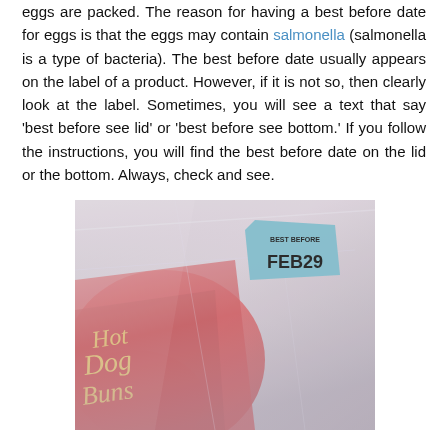eggs are packed. The reason for having a best before date for eggs is that the eggs may contain salmonella (salmonella is a type of bacteria). The best before date usually appears on the label of a product. However, if it is not so, then clearly look at the label. Sometimes, you will see a text that say 'best before see lid' or 'best before see bottom.' If you follow the instructions, you will find the best before date on the lid or the bottom. Always, check and see.
[Figure (photo): A photo of a plastic-wrapped package of Hot Dog Buns with a blue 'BEST BEFORE FEB 29' sticker visible on the clear plastic, and a red branded bag visible underneath.]